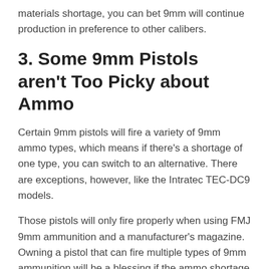materials shortage, you can bet 9mm will continue production in preference to other calibers.
3. Some 9mm Pistols aren't Too Picky about Ammo
Certain 9mm pistols will fire a variety of 9mm ammo types, which means if there's a shortage of one type, you can switch to an alternative. There are exceptions, however, like the Intratec TEC-DC9 models.
Those pistols will only fire properly when using FMJ 9mm ammunition and a manufacturer's magazine. Owning a pistol that can fire multiple types of 9mm ammunition will be a blessing if the ammo shortage continues.
While you won't find multiple variations of obscure